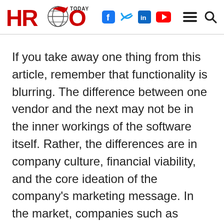HRO Today
If you take away one thing from this article, remember that functionality is blurring. The difference between one vendor and the next may not be in the inner workings of the software itself. Rather, the differences are in company culture, financial viability, and the core ideation of the company's marketing message. In the market, companies such as SuccessFactors are proving that the sales process itself can be the most